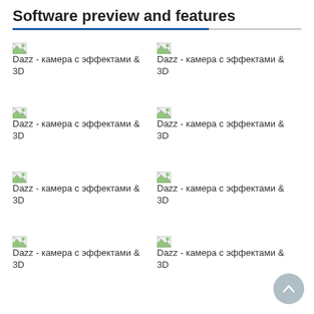Software preview and features
[Figure (screenshot): Broken image placeholder labeled 'Dazz - камера с эффектами & 3D' (top-left)]
[Figure (screenshot): Broken image placeholder labeled 'Dazz - камера с эффектами & 3D' (top-right)]
[Figure (screenshot): Broken image placeholder labeled 'Dazz - камера с эффектами & 3D' (middle-left row 2)]
[Figure (screenshot): Broken image placeholder labeled 'Dazz - камера с эффектами & 3D' (middle-right row 2)]
[Figure (screenshot): Broken image placeholder labeled 'Dazz - камера с эффектами & 3D' (middle-left row 3)]
[Figure (screenshot): Broken image placeholder labeled 'Dazz - камера с эффектами & 3D' (middle-right row 3)]
[Figure (screenshot): Broken image placeholder labeled 'Dazz - камера с эффектами & 3D' (bottom-left row 4)]
[Figure (screenshot): Broken image placeholder labeled 'Dazz - камера с эффектами & 3D' (bottom-right row 4)]